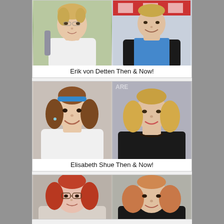[Figure (photo): Two side-by-side photos of Erik von Detten: young on left, adult on right]
Erik von Detten Then & Now!
[Figure (photo): Two side-by-side photos of Elisabeth Shue: young on left, adult on right]
Elisabeth Shue Then & Now!
[Figure (photo): Two side-by-side photos of a third celebrity: young on left, adult on right (partially visible)]